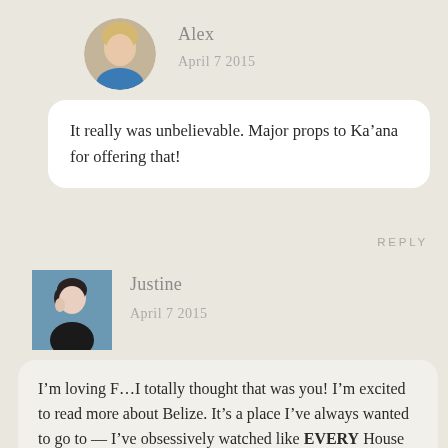[Figure (photo): Circular avatar photo of Alex, a blonde woman]
Alex
April 7 2015
It really was unbelievable. Major props to Ka’ana for offering that!
REPLY
[Figure (photo): Square avatar photo of Justine, dark-haired woman against blue background]
Justine
April 7 2015
I’m loving F...I totally thought that was you! I’m excited to read more about Belize. It’s a place I’ve always wanted to go to — I’ve obsessively watched like EVERY House Hunters